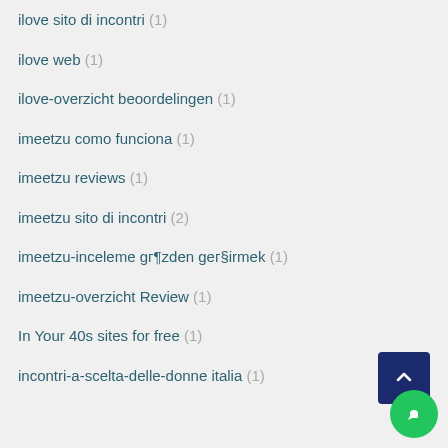ilove sito di incontri (1)
ilove web (1)
ilove-overzicht beoordelingen (1)
imeetzu como funciona (1)
imeetzu reviews (1)
imeetzu sito di incontri (2)
imeetzu-inceleme gözden geçirmek (1)
imeetzu-overzicht Review (1)
In Your 40s sites for free (1)
incontri-a-scelta-delle-donne italia (1)